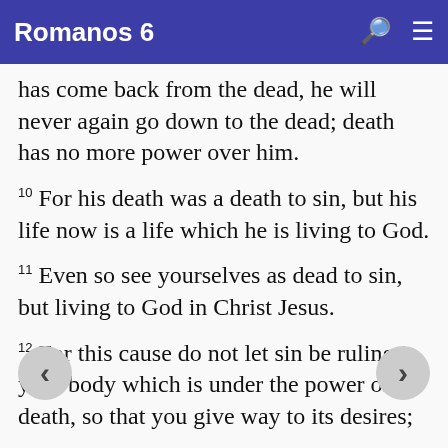Romanos 6
has come back from the dead, he will never again go down to the dead; death has no more power over him.
10 For his death was a death to sin, but his life now is a life which he is living to God.
11 Even so see yourselves as dead to sin, but living to God in Christ Jesus.
12 For this cause do not let sin be ruling in your body which is under the power of death, so that you give way to its desires;
13 And do not give your bodies to sin as